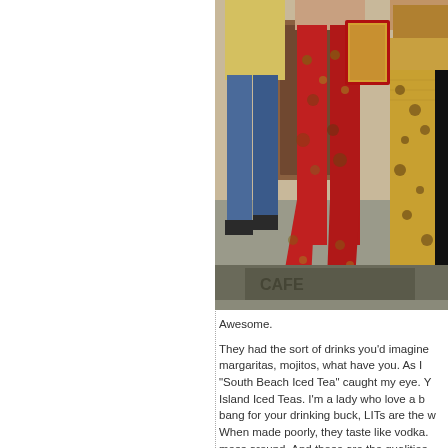[Figure (photo): Photograph of people standing outside a cafe entrance. Center person wears colorful red floral bell-bottom pants. Left person wears blue jeans and yellow shirt. Right person wears leopard-print pants with black stripe and fishnet stockings. A red-framed menu board is visible. The entrance mat reads 'CAFE'.]
Awesome.

They had the sort of drinks you'd imagine margaritas, mojitos, what have you. As I "South Beach Iced Tea" caught my eye. Y Island Iced Teas. I'm a lady who love a b bang for your drinking buck, LITs are the w When made poorly, they taste like vodka. mess around. And those are the qualities South Beach Iced Tea read Long Islands